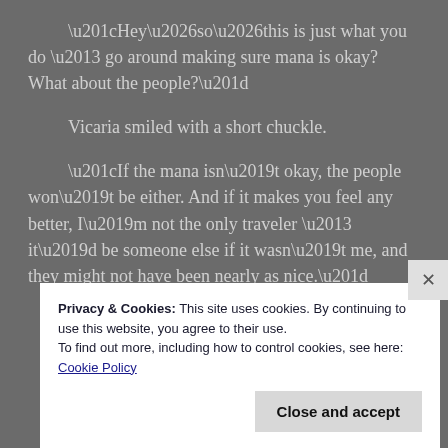“Hey…so…this is just what you do – go around making sure mana is okay? What about the people?”
Vicaria smiled with a short chuckle.
“If the mana isn’t okay, the people won’t be either. And if it makes you feel any better, I’m not the only traveler – it’d be someone else if it wasn’t me, and they might not have been nearly as nice.”
Privacy & Cookies: This site uses cookies. By continuing to use this website, you agree to their use. To find out more, including how to control cookies, see here: Cookie Policy